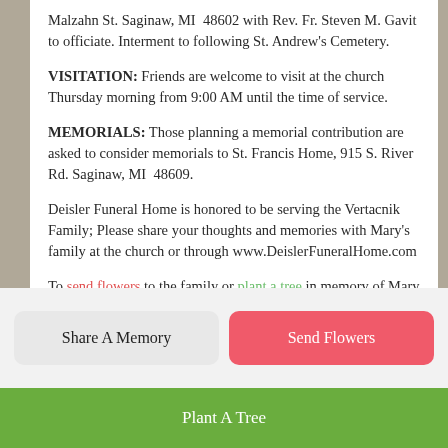Malzahn St. Saginaw, MI  48602 with Rev. Fr. Steven M. Gavit to officiate. Interment to following St. Andrew's Cemetery.
VISITATION: Friends are welcome to visit at the church Thursday morning from 9:00 AM until the time of service.
MEMORIALS: Those planning a memorial contribution are asked to consider memorials to St. Francis Home, 915 S. River Rd. Saginaw, MI  48609.
Deisler Funeral Home is honored to be serving the Vertacnik Family; Please share your thoughts and memories with Mary's family at the church or through www.DeislerFuneralHome.com
To send flowers to the family or plant a tree in memory of Mary Vertacnik, please visit Tribute Store
Share A Memory
Send Flowers
Plant A Tree